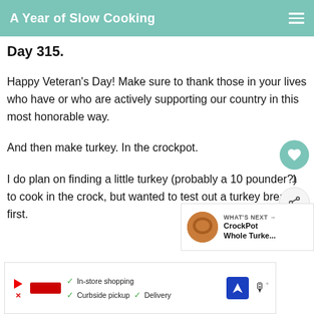A Year of Slow Cooking
Day 315.
Happy Veteran's Day! Make sure to thank those in your lives who have or who are actively supporting our country in this most honorable way.
And then make turkey. In the crockpot.
I do plan on finding a little turkey (probably a 10 pounder?) to cook in the crock, but wanted to test out a turkey breast first.